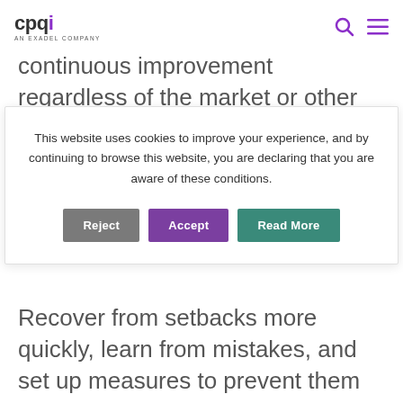cpqi AN EXADEL COMPANY
continuous improvement regardless of the market or other outside events.
This website uses cookies to improve your experience, and by continuing to browse this website, you are declaring that you are aware of these conditions.
Reject | Accept | Read More
Recover from setbacks more quickly, learn from mistakes, and set up measures to prevent them from happening again.